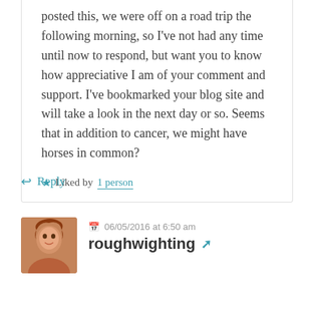posted this, we were off on a road trip the following morning, so I've not had any time until now to respond, but want you to know how appreciative I am of your comment and support. I've bookmarked your blog site and will take a look in the next day or so. Seems that in addition to cancer, we might have horses in common?
★ Liked by 1 person
↩ Reply
06/05/2016 at 6:50 am
roughwighting